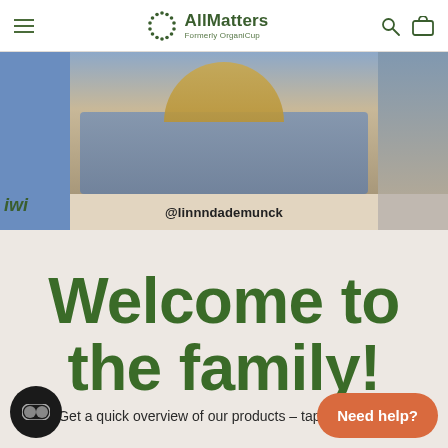AllMatters Formerly OrganiCup
[Figure (photo): Website screenshot showing a social media photo of a person in a denim jacket holding a product box, with Instagram handle @linnndademunck below, flanked by partial images on left and right]
@linnndademunck
Welcome to the family!
Get a quick overview of our products – tap to explore.